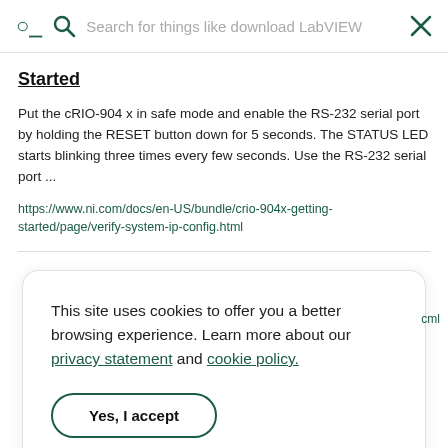[Figure (screenshot): Search bar with magnifying glass icon on left and X close icon on right, placeholder text 'Search for things like download LabVIEW']
Started
Put the cRIO-904 x in safe mode and enable the RS-232 serial port by holding the RESET button down for 5 seconds. The STATUS LED starts blinking three times every few seconds. Use the RS-232 serial port ...
https://www.ni.com/docs/en-US/bundle/crio-904x-getting-started/page/verify-system-ip-config.html
This site uses cookies to offer you a better browsing experience. Learn more about our privacy statement and cookie policy.
Yes, I accept